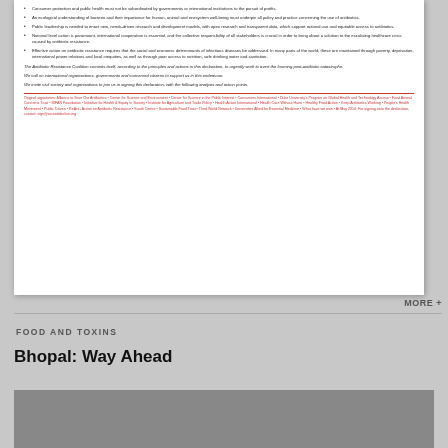[Figure (screenshot): Scanned document page showing bullet points about antibiotic resistance policy principles and a declaration from the Antibiotics Resistance Coalition with signatory organizations listed in red text.]
MORE +
FOOD AND TOXINS
Bhopal: Way Ahead
[Figure (photo): Grey/dark photograph related to Bhopal article]